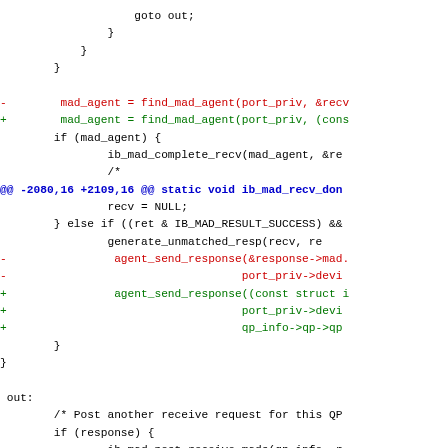Code diff showing changes to ib_mad module, including find_mad_agent, ib_mad_complete_recv, agent_send_response, and ib_mad_post_receive_mads functions.